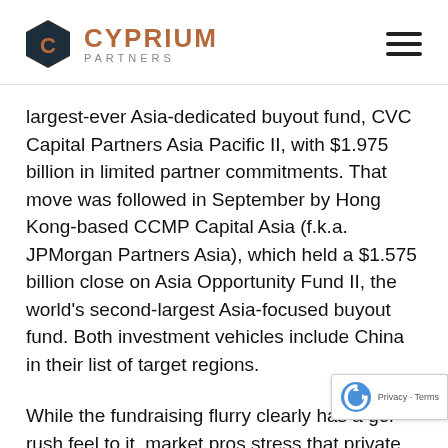[Figure (logo): Cyprium Partners logo with dark hexagon icon containing letter C and brand name text]
largest-ever Asia-dedicated buyout fund, CVC Capital Partners Asia Pacific II, with $1.975 billion in limited partner commitments. That move was followed in September by Hong Kong-based CCMP Capital Asia (f.k.a. JPMorgan Partners Asia), which held a $1.575 billion close on Asia Opportunity Fund II, the world's second-largest Asia-focused buyout fund. Both investment vehicles include China in their list of target regions.
While the fundraising flurry clearly has a gold rush feel to it, market pros stress that private equity firms are starting to make real gains in